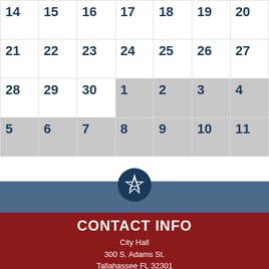| 14 | 15 | 16 | 17 | 18 | 19 | 20 |
| 21 | 22 | 23 | 24 | 25 | 26 | 27 |
| 28 | 29 | 30 | 1 | 2 | 3 | 4 |
| 5 | 6 | 7 | 8 | 9 | 10 | 11 |
[Figure (logo): City of Tallahassee star logo in a dark navy circle]
CONTACT INFO
City Hall
300 S. Adams St.
Tallahassee FL 32301
850-891-0000
Maps and Directions
Contact Us
Translate This Site
PRIVACY POLICY
DISCLAIMER